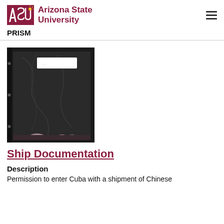ASU Arizona State University | PRISM
[Figure (photo): A dark plastic bag with a white label sticker, shown against a binder/folder background with holes on the left side. Small purple/pink items visible at the bottom of the bag.]
Ship Documentation
Description
Permission to enter Cuba with a shipment of Chinese